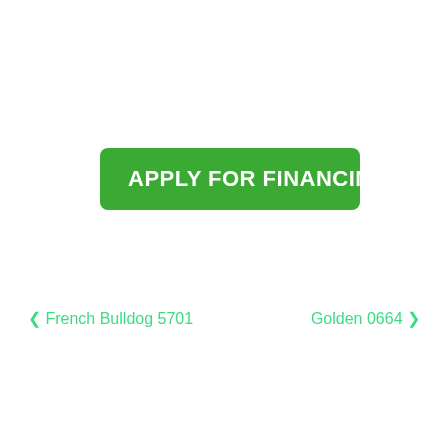[Figure (other): Green rounded button labeled APPLY FOR FINANCING]
< French Bulldog 5701
Golden 0664 >